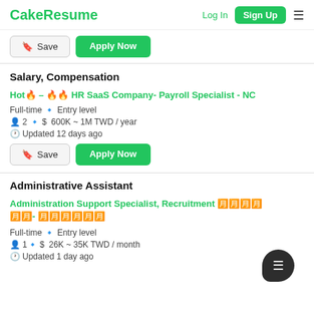CakeResume | Log In | Sign Up
Save | Apply Now
Salary, Compensation
Hot🔥 – 🔥🔥 HR SaaS Company- Payroll Specialist - NC
Full-time 🔹 Entry level
2 🔹 $ 600K ~ 1M TWD / year
Updated 12 days ago
Save | Apply Now
Administrative Assistant
Administration Support Specialist, Recruitment 人資招募- 人事總務
Full-time 🔹 Entry level
1🔹 $ 26K ~ 35K TWD / month
Updated 1 day ago